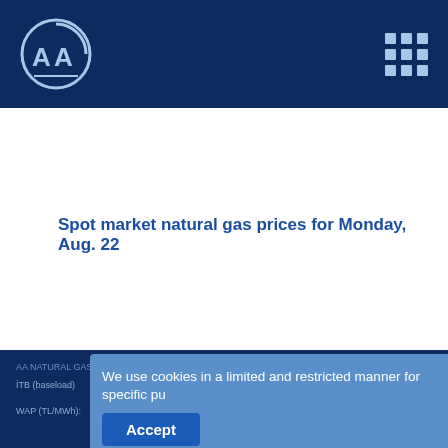[Figure (logo): Anadolu Agency (AA) logo — white circular emblem with stylized AA letters on dark blue header bar, with a 3×3 grid icon on the right]
Spot market natural gas prices for Monday, Aug. 22
We use cookies in a limited and restricted manner for specific pu
Accept